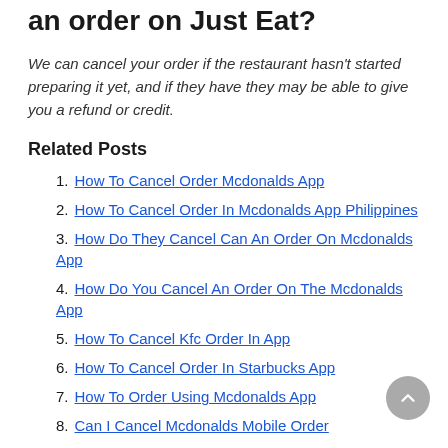an order on Just Eat?
We can cancel your order if the restaurant hasn't started preparing it yet, and if they have they may be able to give you a refund or credit.
Related Posts
How To Cancel Order Mcdonalds App
How To Cancel Order In Mcdonalds App Philippines
How Do They Cancel Can An Order On Mcdonalds App
How Do You Cancel An Order On The Mcdonalds App
How To Cancel Kfc Order In App
How To Cancel Order In Starbucks App
How To Order Using Mcdonalds App
Can I Cancel Mcdonalds Mobile Order